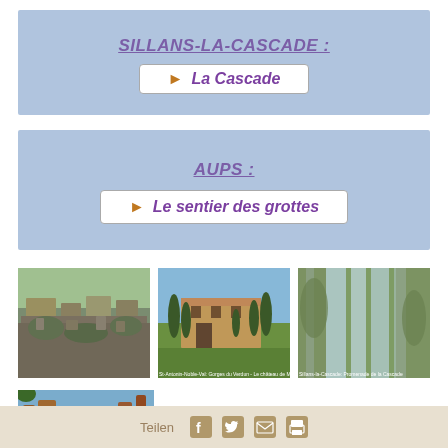SILLANS-LA-CASCADE :
► La Cascade
AUPS :
► Le sentier des grottes
[Figure (photo): Aerial or elevated view of rocky hillside village with stone buildings and vegetation]
[Figure (photo): Stone building with cypress trees, Le château de Moissac]
[Figure (photo): Waterfall cascading down rocky cliffs with green vegetation, La cascade]
[Figure (photo): Rocky cliff face with blue sky and pine tree]
Teilen